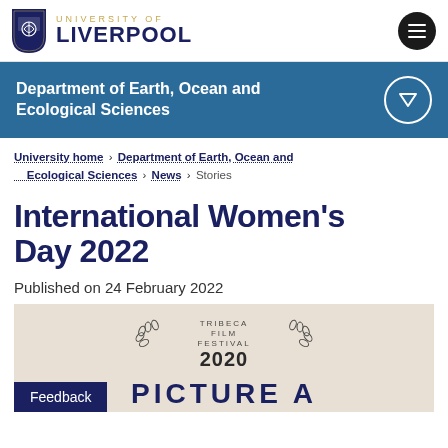[Figure (logo): University of Liverpool shield logo with text 'UNIVERSITY OF LIVERPOOL']
Department of Earth, Ocean and Ecological Sciences
University home > Department of Earth, Ocean and Ecological Sciences > News > Stories
International Women's Day 2022
Published on 24 February 2022
[Figure (photo): Tribeca Film Festival 2020 logo and text 'PICTURE A' on a beige background, with a Feedback button overlay]